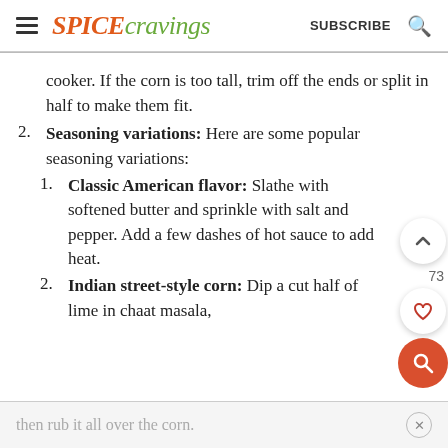SPICE cravings  SUBSCRIBE
cooker. If the corn is too tall, trim off the ends or split in half to make them fit.
2. Seasoning variations: Here are some popular seasoning variations:
1. Classic American flavor: Slather with softened butter and sprinkle with salt and pepper. Add a few dashes of hot sauce to add heat.
2. Indian street-style corn: Dip a cut half of lime in chaat masala,
then rub it all over the corn.